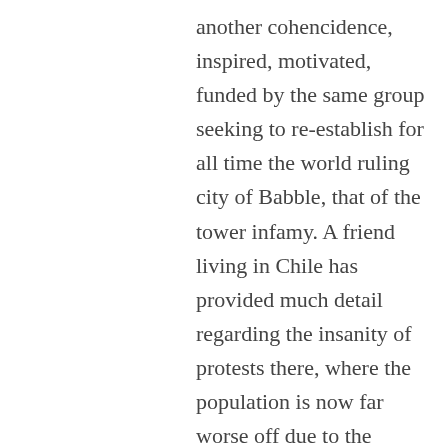another cohencidence, inspired, motivated, funded by the same group seeking to re-establish for all time the world ruling city of Babble, that of the tower infamy. A friend living in Chile has provided much detail regarding the insanity of protests there, where the population is now far worse off due to the protests and destruction of infrastructure.
Those internationalists who would gain from